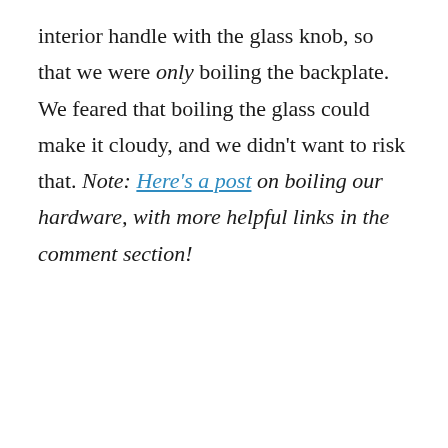interior handle with the glass knob, so that we were only boiling the backplate. We feared that boiling the glass could make it cloudy, and we didn't want to risk that. Note: Here's a post on boiling our hardware, with more helpful links in the comment section!